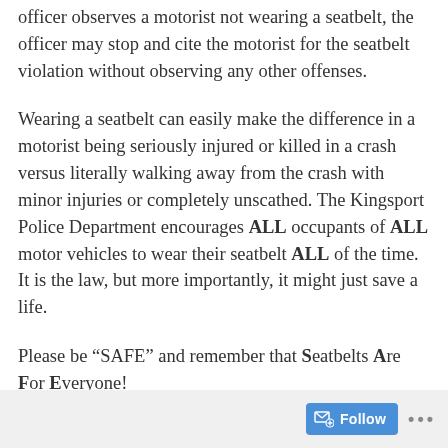officer observes a motorist not wearing a seatbelt, the officer may stop and cite the motorist for the seatbelt violation without observing any other offenses.
Wearing a seatbelt can easily make the difference in a motorist being seriously injured or killed in a crash versus literally walking away from the crash with minor injuries or completely unscathed. The Kingsport Police Department encourages ALL occupants of ALL motor vehicles to wear their seatbelt ALL of the time. It is the law, but more importantly, it might just save a life.
Please be “SAFE” and remember that Seatbelts Are For Everyone!
For additional information on the “SAFE” Campaign and other THSO traffic safety
Follow ...